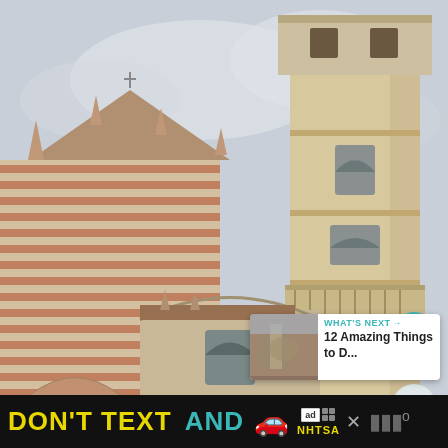[Figure (photo): Photograph of a historic cathedral and tall bell tower (campanile) in Verona, Italy. The cathedral features distinctive red-and-white striped marble walls with Gothic pinnacles. A tall Renaissance-style stone bell tower dominates the right side. A rounded apse with an arched window is visible in the lower center. The sky is overcast and cloudy.]
[Figure (infographic): Circular teal heart/like button with white heart icon, showing count '3' below it, and a share icon circle below that]
[Figure (infographic): What's Next panel with thumbnail of another cathedral image and text '12 Amazing Things to D...']
WHAT'S NEXT → 12 Amazing Things to D...
DON'T TEXT AND [car emoji] [ad badge] NHTSA [close X] [weather icon]